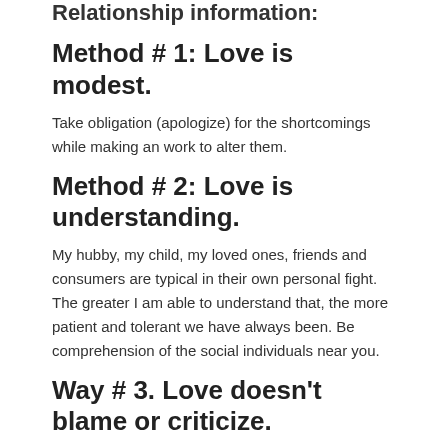Relationship information:
Method # 1: Love is modest.
Take obligation (apologize) for the shortcomings while making an work to alter them.
Method # 2: Love is understanding.
My hubby, my child, my loved ones, friends and consumers are typical in their own personal fight. The greater I am able to understand that, the more patient and tolerant we have always been. Be comprehension of the social individuals near you.
Way # 3. Love doesn’t blame or criticize.
mpting to aim fingers and feel innocent.